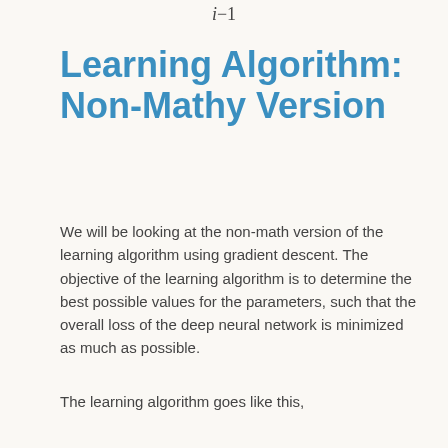Learning Algorithm: Non-Mathy Version
We will be looking at the non-math version of the learning algorithm using gradient descent. The objective of the learning algorithm is to determine the best possible values for the parameters, such that the overall loss of the deep neural network is minimized as much as possible.
The learning algorithm goes like this,